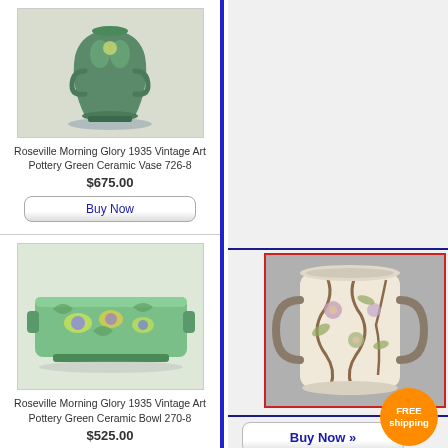[Figure (photo): Roseville Morning Glory 1935 Vintage Art Pottery Green Ceramic Vase 726-8, shown from above on white background]
Roseville Morning Glory 1935 Vintage Art Pottery Green Ceramic Vase 726-8
$675.00
Buy Now
[Figure (photo): Roseville Morning Glory 1935 Vintage Art Pottery Green Ceramic Bowl 270-8, rectangular green bowl with floral design]
Roseville Morning Glory 1935 Vintage Art Pottery Green Ceramic Bowl 270-8
$525.00
Buy Now
[Figure (photo): Decorative art pottery mug/vase with intricate vine and floral relief design in cream, green, and purple tones]
Buy Now »
FREE shipping